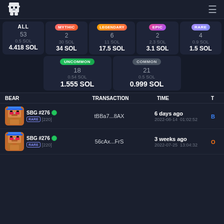SBG Logo | Hamburger menu
| Category | Count | Floor | Total |
| --- | --- | --- | --- |
| ALL | 53 | 0.5 SOL | 4.418 SOL |
| MYTHIC | 2 | 30 SOL | 34 SOL |
| LEGENDARY | 6 | 11 SOL | 17.5 SOL |
| EPIC | 2 | 2.3 SOL | 3.1 SOL |
| RARE | 4 | 0.9 SOL | 1.5 SOL |
| UNCOMMON | 18 | 0.54 SOL | 1.555 SOL |
| COMMON | 21 | 0.5 SOL | 0.999 SOL |
| BEAR | TRANSACTION | TIME | T |
| --- | --- | --- | --- |
| SBG #276 RARE [220] | tBBa7...8AX | 6 days ago 2022-08-14 01:02:52 | B |
| SBG #276 RARE [220] | 56cAx...FrS | 3 weeks ago 2022-07-25 13:04:32 | O |